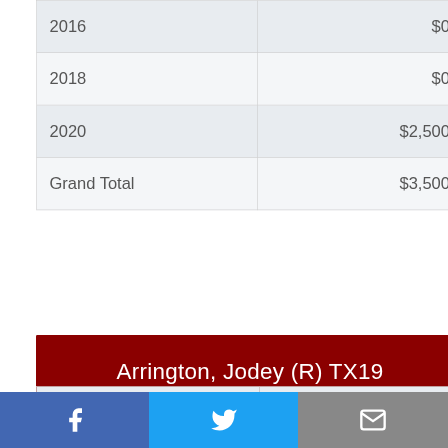| Year | Amount |
| --- | --- |
| 2016 | $0 |
| 2018 | $0 |
| 2020 | $2,500 |
| Grand Total | $3,500 |
Arrington, Jodey (R) TX19
| Year | Amount |
| --- | --- |
| 2006 | $0 |
f  Twitter  mail